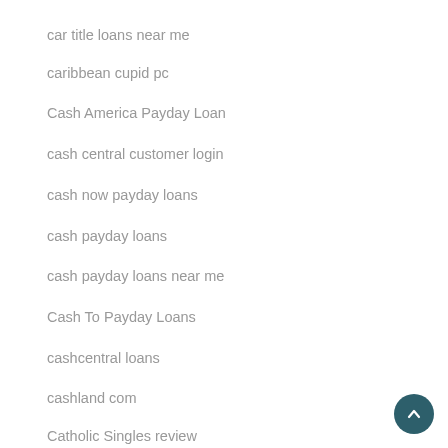car title loans near me
caribbean cupid pc
Cash America Payday Loan
cash central customer login
cash now payday loans
cash payday loans
cash payday loans near me
Cash To Payday Loans
cashcentral loans
cashland com
Catholic Singles review